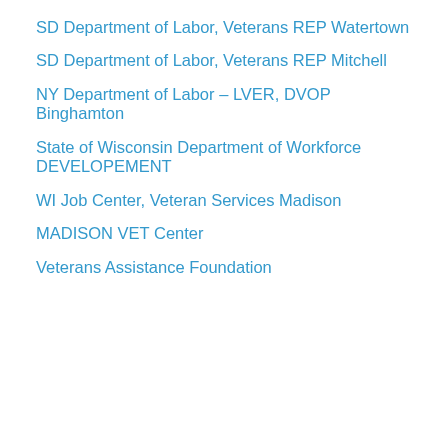SD Department of Labor, Veterans REP Watertown
SD Department of Labor, Veterans REP Mitchell
NY Department of Labor – LVER, DVOP Binghamton
State of Wisconsin Department of Workforce DEVELOPEMENT
WI Job Center, Veteran Services Madison
MADISON VET Center
Veterans Assistance Foundation